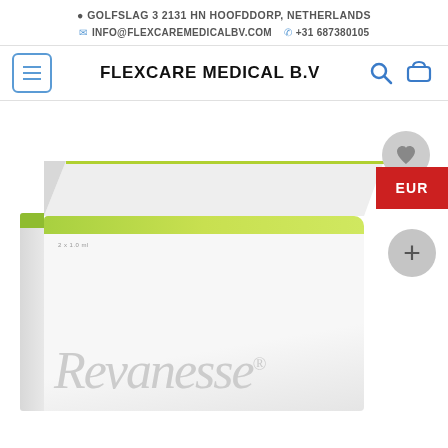GOLFSLAG 3 2131 HN HOOFDDORP, NETHERLANDS
INFO@FLEXCAREMEDICALBV.COM  +31 687380105
FLEXCARE MEDICAL B.V
[Figure (photo): Product photo of a white medical/cosmetic product box (Revanesse) with green stripe, shown from an angle. Floating UI elements: a grey wishlist heart button, a red EUR currency tab, and a grey plus/add button.]